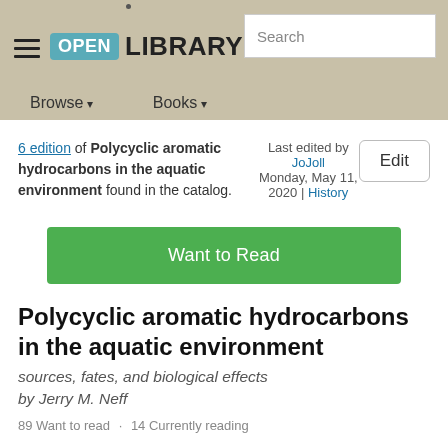Open Library — Browse | Books | Search
6 edition of Polycyclic aromatic hydrocarbons in the aquatic environment found in the catalog. Last edited by JoJoll Monday, May 11, 2020 | History
Want to Read
Polycyclic aromatic hydrocarbons in the aquatic environment
sources, fates, and biological effects
by Jerry M. Neff
89 Want to read · 14 Currently reading